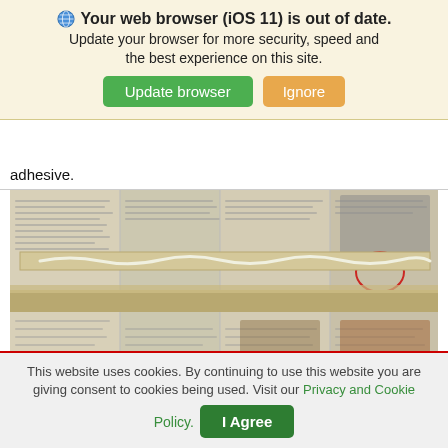🌐 Your web browser (iOS 11) is out of date. Update your browser for more security, speed and the best experience on this site.
Update browser | Ignore
adhesive.
[Figure (photo): A wooden board with white adhesive applied on top, placed on spread-out newspapers.]
This website uses cookies. By continuing to use this website you are giving consent to cookies being used. Visit our Privacy and Cookie Policy.
I Agree